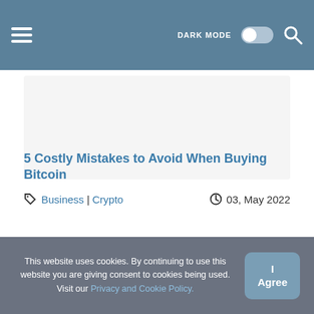DARK MODE | [search]
[Figure (other): White blank/placeholder image area for article thumbnail]
5 Costly Mistakes to Avoid When Buying Bitcoin
Business | Crypto   03, May 2022
This website uses cookies. By continuing to use this website you are giving consent to cookies being used. Visit our Privacy and Cookie Policy.